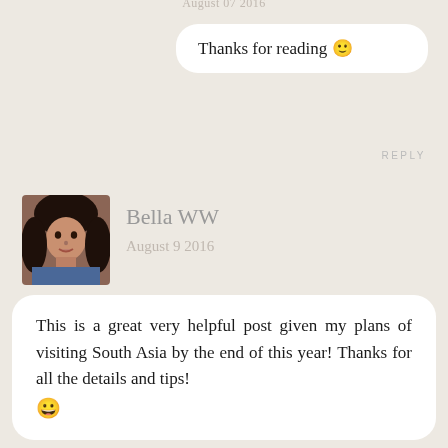Thanks for reading 🙂
REPLY
Bella WW
August 9 2016
This is a great very helpful post given my plans of visiting South Asia by the end of this year! Thanks for all the details and tips! 😀
REPLY
Alex
August 10 2016